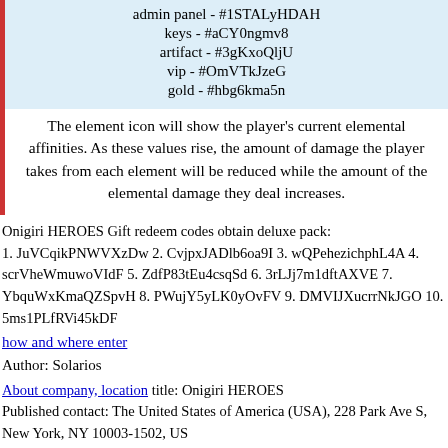admin panel - #1STALyHDAH
keys - #aCY0ngmv8
artifact - #3gKxoQljU
vip - #OmVTkJzeG
gold - #hbg6kma5n
The element icon will show the player's current elemental affinities. As these values rise, the amount of damage the player takes from each element will be reduced while the amount of the elemental damage they deal increases.
Onigiri HEROES Gift redeem codes obtain deluxe pack:
1. JuVCqikPNWVXzDw 2. CvjpxJADlb6oa9I 3. wQPehezichphL4A 4. scrVheWmuwoVIdF 5. ZdfP83tEu4csqSd 6. 3rLJj7m1dftAXVE 7. YbquWxKmaQZSpvH 8. PWujY5yLK0yOvFV 9. DMVIJXucrrNkJGO 10. 5ms1PLfRVi45kDF
how and where enter
Author: Solarios
About company, location title: Onigiri HEROES
Published contact: The United States of America (USA), 228 Park Ave S, New York, NY 10003-1502, US
Categories: GAMES HACK CHEATS